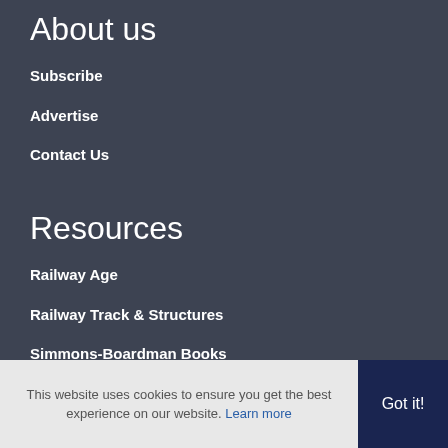About us
Subscribe
Advertise
Contact Us
Resources
Railway Age
Railway Track & Structures
Simmons-Boardman Books
The Railway Educational Bureau
This website uses cookies to ensure you get the best experience on our website. Learn more
Got it!